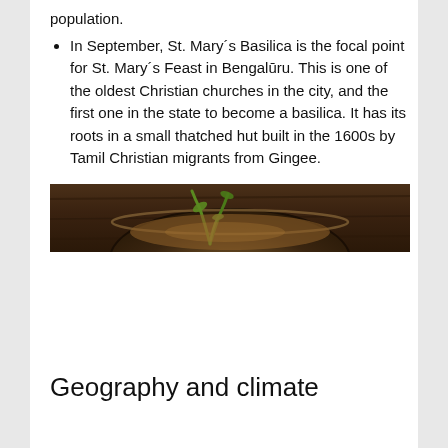population.
In September, St. Mary´s Basilica is the focal point for St. Mary´s Feast in Bengalūru. This is one of the oldest Christian churches in the city, and the first one in the state to become a basilica. It has its roots in a small thatched hut built in the 1600s by Tamil Christian migrants from Gingee.
[Figure (photo): A bowl of food with green garnish on a dark wooden surface, partially cropped at the top of the image.]
Geography and climate